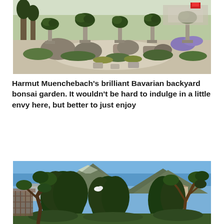[Figure (photo): A bonsai garden with multiple bonsai trees displayed on stone pedestals, surrounded by rocks, gravel paths, and ground cover plants with purple and yellow flowers. Bavarian backyard bonsai garden.]
Harmut Muenchebach's brilliant Bavarian backyard bonsai garden. It wouldn't be hard to indulge in a little envy here, but better to just enjoy
[Figure (photo): Outdoor garden scene with large bonsai trees and other trees, mountains visible in the background under a blue sky with some clouds. Buildings partially visible.]